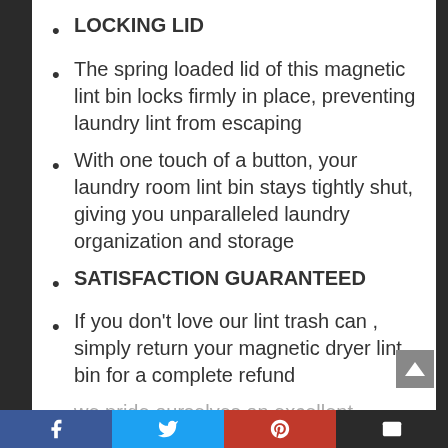LOCKING LID
The spring loaded lid of this magnetic lint bin locks firmly in place, preventing laundry lint from escaping
With one touch of a button, your laundry room lint bin stays tightly shut, giving you unparalleled laundry organization and storage
SATISFACTION GUARANTEED
If you don’t love our lint trash can , simply return your magnetic dryer lint bin for a complete refund
we pride ourselves on excellent